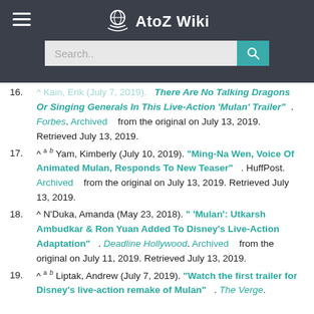AtoZ Wiki
16. ^ Kain, Erik (July 7, 2019). "There Are No Talking Dragons Or Singing Generals In This Live-Action 'Mulan' Trailer". Forbes. Archived from the original on July 13, 2019. Retrieved July 13, 2019.
17. ^ a b Yam, Kimberly (July 10, 2019). "Ming-Na Wen, Voice Of Animated Mulan, Responds To New Teaser". HuffPost. Archived from the original on July 13, 2019. Retrieved July 13, 2019.
18. ^ N'Duka, Amanda (May 23, 2018). "'Mulan': Utkarsh Ambudkar & Ron Yuan Added To Disney's Live-Action Adaptation". Deadline Hollywood. Archived from the original on July 11, 2019. Retrieved July 13, 2019.
19. ^ a b Liptak, Andrew (July 7, 2019). "Watch the first trailer for Disney's live-action remake of Mulan". The Verge.